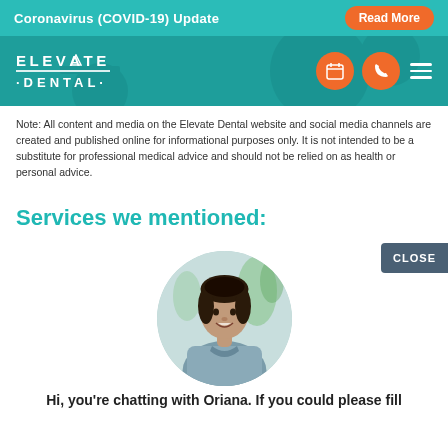Coronavirus (COVID-19) Update   Read More
[Figure (logo): Elevate Dental logo with navigation icons including calendar, phone, and hamburger menu on teal background]
Note: All content and media on the Elevate Dental website and social media channels are created and published online for informational purposes only. It is not intended to be a substitute for professional medical advice and should not be relied on as health or personal advice.
Services we mentioned:
[Figure (photo): Circular portrait photo of a smiling woman in a grey dental uniform, with green plants in the background]
Hi, you're chatting with Oriana. If you could please fill